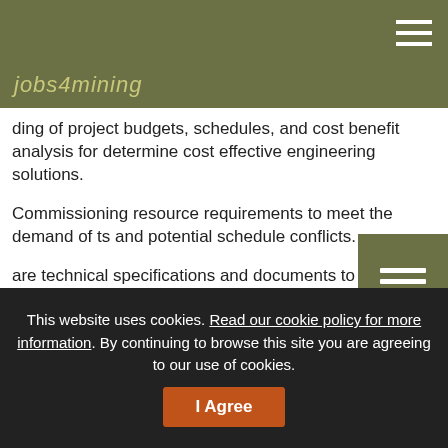jobs4mining (logo/header)
ding of project budgets, schedules, and cost benefit analysis for determine cost effective engineering solutions.
Commissioning resource requirements to meet the demand of ts and potential schedule conflicts.
are technical specifications and documents to clearly define cal services, construction methods, and equipment.
and supervise the work of support Contractors & Vendors.
f Medium Voltage Power distribution (35kV and below) elevant Relay Protection.
f Medium and Low Voltage Motor Control with Metering and
This website uses cookies. Read our cookie policy for more information. By continuing to browse this site you are agreeing to our use of cookies.